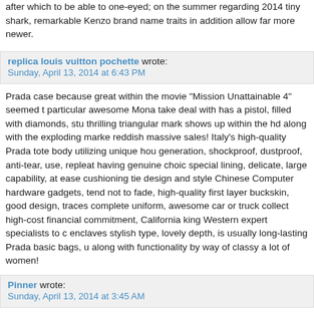after which to be able to one-eyed; on the summer regarding 2014 tiny shark, remarkable Kenzo brand name traits in addition allow far more newer.
replica louis vuitton pochette wrote:
Sunday, April 13, 2014 at 6:43 PM
Prada case because great within the movie "Mission Unattainable 4" seemed t particular awesome Mona take deal with has a pistol, filled with diamonds, stu thrilling triangular mark shows up within the hd along with the exploding marke reddish massive sales! Italy's high-quality Prada tote body utilizing unique hou generation, shockproof, dustproof, anti-tear, use, repleat having genuine choic special lining, delicate, large capability, at ease cushioning tie design and style Chinese Computer hardware gadgets, tend not to fade, high-quality first layer buckskin, good design, traces complete uniform, awesome car or truck collect high-cost financial commitment, California king Western expert specialists to c enclaves stylish type, lovely depth, is usually long-lasting Prada basic bags, u along with functionality by way of classy a lot of women!
Pinner wrote:
Sunday, April 13, 2014 at 3:45 AM
For the blog site owner, can I question exactly how do you contend with spam? invest mainly for information on how to handle it!
Barlow wrote:
Sunday, April 13, 2014 at 2:50 AM
I think that is among the most important information for me. And i am satisfied article. However wanna remark on few common issues, The web site style is g articles is in point of fact excellent : D. Good activity, cheers